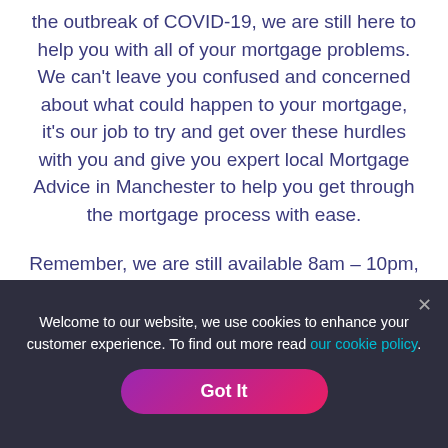the outbreak of COVID-19, we are still here to help you with all of your mortgage problems. We can't leave you confused and concerned about what could happen to your mortgage, it's our job to try and get over these hurdles with you and give you expert local Mortgage Advice in Manchester to help you get through the mortgage process with ease.
Remember, we are still available 8am – 10pm, 7 days a week to answer all of your mortgage
Welcome to our website, we use cookies to enhance your customer experience. To find out more read our cookie policy.